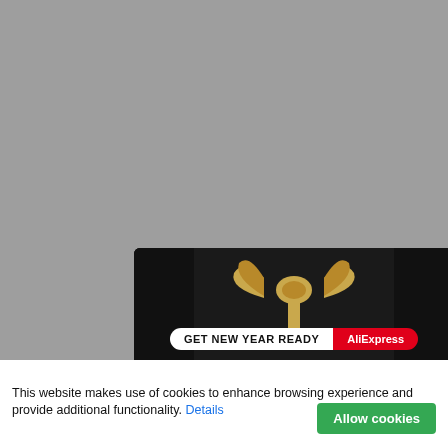[Figure (screenshot): AliExpress promotional modal popup on a grey website background. The modal has a dark background with a gold gift bow at top, a badge reading 'GET NEW YEAR READY AliExpress', and large gold text 'Explore up to 70% off'. Gold ribbon decorations are in the corners. A white X close button is at the top right of the modal.]
This website makes use of cookies to enhance browsing experience and provide additional functionality. Details
Allow cookies